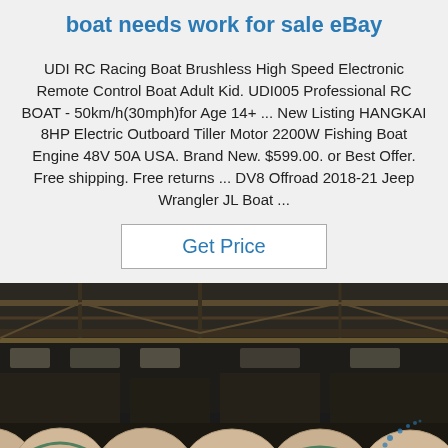boat needs work for sale eBay
UDI RC Racing Boat Brushless High Speed Electronic Remote Control Boat Adult Kid. UDI005 Professional RC BOAT - 50km/h(30mph)for Age 14+ ... New Listing HANGKAI 8HP Electric Outboard Tiller Motor 2200W Fishing Boat Engine 48V 50A USA. Brand New. $599.00. or Best Offer. Free shipping. Free returns ... DV8 Offroad 2018-21 Jeep Wrangler JL Boat ...
[Figure (other): Button labeled Get Price with blue text and gray border]
[Figure (photo): Industrial warehouse interior with large cable spools/reels on the floor, overhead crane structure visible, dark industrial setting with a small TON logo watermark in the lower right]